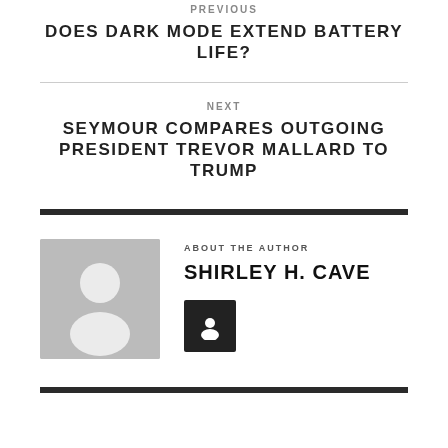PREVIOUS
DOES DARK MODE EXTEND BATTERY LIFE?
NEXT
SEYMOUR COMPARES OUTGOING PRESIDENT TREVOR MALLARD TO TRUMP
ABOUT THE AUTHOR
SHIRLEY H. CAVE
[Figure (illustration): Author avatar placeholder with person silhouette icon on grey background]
[Figure (illustration): Dark square button with person/user icon]